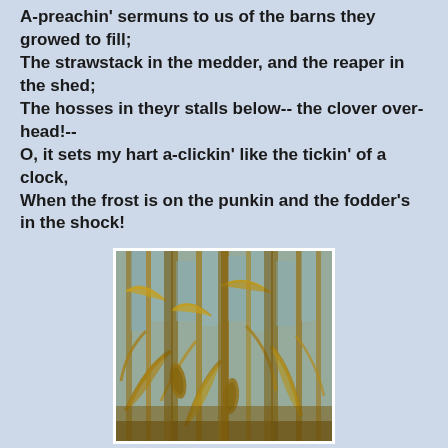A-preachin' sermuns to us of the barns they growed to fill;
The strawstack in the medder, and the reaper in the shed;
The hosses in theyr stalls below-- the clover over-head!--
O, it sets my hart a-clickin' like the tickin' of a clock,
When the frost is on the punkin and the fodder's in the shock!
[Figure (photo): A photograph of dried corn stalks in a field, showing tall brown stalks with dried husks and leaves, taken close-up.]